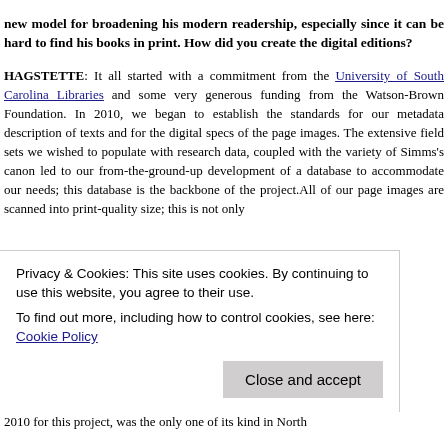new model for broadening his modern readership, especially since it can be hard to find his books in print. How did you create the digital editions?
HAGSTETTE: It all started with a commitment from the University of South Carolina Libraries and some very generous funding from the Watson-Brown Foundation. In 2010, we began to establish the standards for our metadata description of texts and for the digital specs of the page images. The extensive field sets we wished to populate with research data, coupled with the variety of Simms's canon led to our from-the-ground-up development of a database to accommodate our needs; this database is the backbone of the project.All of our page images are scanned into print-quality size; this is not only to make the pages of the accessible to the online ...
Privacy & Cookies: This site uses cookies. By continuing to use this website, you agree to their use.
To find out more, including how to control cookies, see here: Cookie Policy
2010 for this project, was the only one of its kind in North